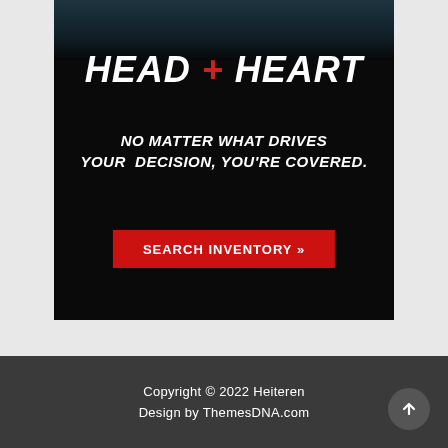[Figure (infographic): Dark automotive advertisement banner. Top portion shows a partial car image on a dark blue-black background. Center has large bold italic white text 'HEAD + HEART' with a red plus sign. Below is italic bold white text tagline 'NO MATTER WHAT DRIVES YOUR DECISION, YOU'RE COVERED.' At bottom center is a red CTA button reading 'SEARCH INVENTORY »']
Copyright © 2022 Heiteren
Design by ThemesDNA.com